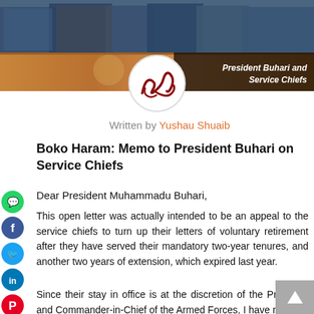[Figure (photo): Banner photo showing President Buhari and Service Chiefs, with a wood-paneled podium background. Caption overlay reads 'President Buhari and Service Chiefs'.]
President Buhari and Service Chiefs
[Figure (illustration): Circular avatar with a red calligraphic signature or logo on white background]
Written by Yushau Shuaib
Boko Haram: Memo to President Buhari on Service Chiefs
Dear President Muhammadu Buhari,
This open letter was actually intended to be an appeal to the service chiefs to turn up their letters of voluntary retirement after they have served their mandatory two-year tenures, and another two years of extension, which expired last year.
Since their stay in office is at the discretion of the President and Commander-in-Chief of the Armed Forces, I have rather